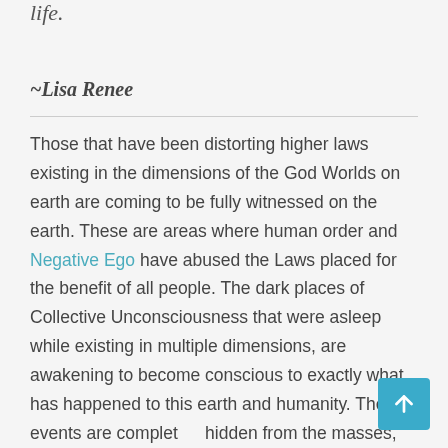life.
~Lisa Renee
Those that have been distorting higher laws existing in the dimensions of the God Worlds on earth are coming to be fully witnessed on the earth. These are areas where human order and Negative Ego have abused the Laws placed for the benefit of all people. The dark places of Collective Unconsciousness that were asleep while existing in multiple dimensions, are awakening to become conscious to exactly what has happened to this earth and humanity. These events are completely hidden from the masses, and most people will have little to no awareness this revelation is happening.